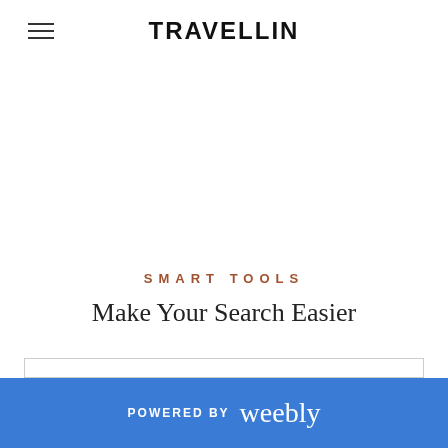TRAVELLIN
SMART TOOLS
Make Your Search Easier
POWERED BY weebly